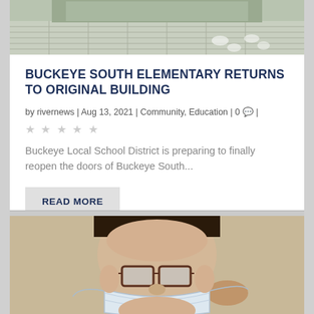[Figure (photo): Top portion of a building exterior with stone/brick pavement and footprint markers on the ground]
BUCKEYE SOUTH ELEMENTARY RETURNS TO ORIGINAL BUILDING
by rivernews | Aug 13, 2021 | Community, Education | 0 💬 |
★ ★ ★ ★ ★ (empty stars rating)
Buckeye Local School District is preparing to finally reopen the doors of Buckeye South...
READ MORE
[Figure (photo): Person wearing glasses putting on a face mask, close-up photo]